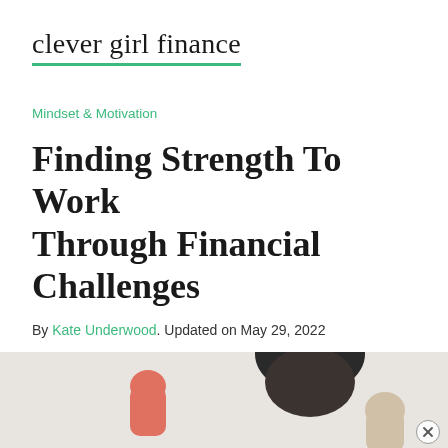clever girl finance
Mindset & Motivation
Finding Strength To Work Through Financial Challenges
By Kate Underwood. Updated on May 29, 2022
[Figure (photo): A person flexing their arms showing strength, with a light grey background. Partially visible hero image at the bottom of the page with a close/dismiss button in the bottom right corner.]